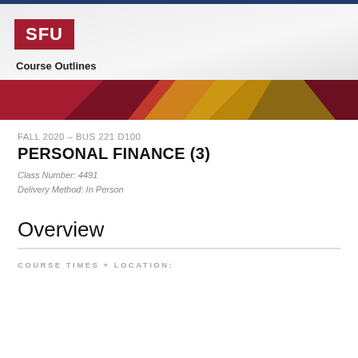SFU Course Outlines
[Figure (illustration): Decorative geometric banner with red, gold, and dark red angular shapes]
FALL 2020 – BUS 221 D100
PERSONAL FINANCE (3)
Class Number: 4491
Delivery Method: In Person
Overview
COURSE TIMES + LOCATION: